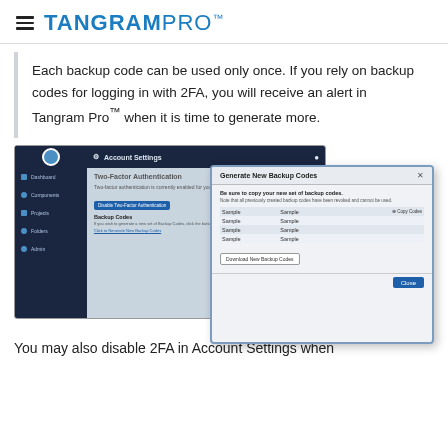TANGRAM PRO™
Each backup code can be used only once. If you rely on backup codes for logging in with 2FA, you will receive an alert in Tangram Pro™ when it is time to generate more.
[Figure (screenshot): Screenshot of Tangram Pro Account Settings page showing Two-Factor Authentication section, with a modal dialog overlay titled 'Generate New Backup Codes' containing sample backup codes in a table, a 'Download New Backup Codes' button, and a blue 'Close' button.]
You may also disable 2FA in Account Settings when